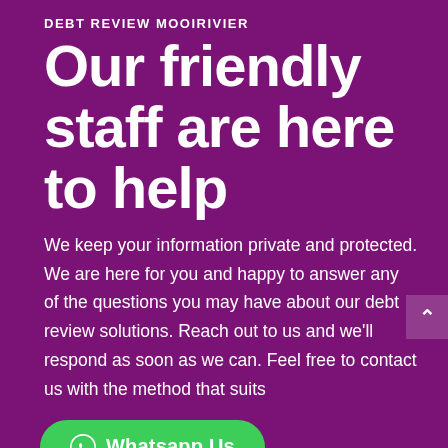DEBT REVIEW MOOIRIVIER
Our friendly staff are here to help
We keep your information private and protected. We are here for you and happy to answer any of the questions you may have about our debt review solutions. Reach out to us and we’ll respond as soon as we can. Feel free to contact us with the method that suits
Whatsapp Us